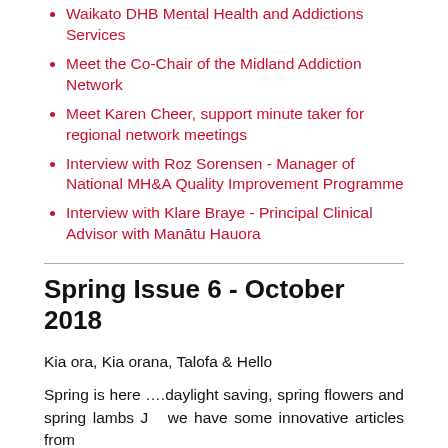Waikato DHB Mental Health and Addictions Services
Meet the Co-Chair of the Midland Addiction Network
Meet Karen Cheer, support minute taker for regional network meetings
Interview with Roz Sorensen - Manager of National MH&A Quality Improvement Programme
Interview with Klare Braye - Principal Clinical Advisor with Manātu Hauora
Spring Issue 6 - October 2018
Kia ora, Kia orana, Talofa & Hello
Spring is here ….daylight saving, spring flowers and spring lambs J   we have some innovative articles from